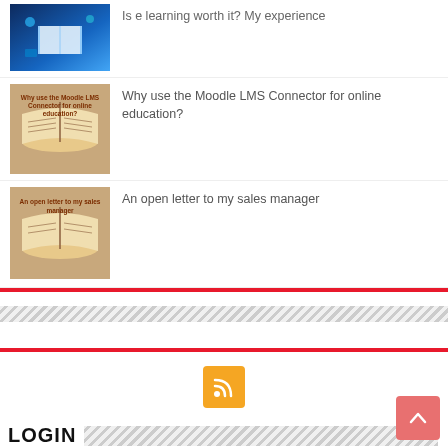Is e learning worth it? My experience
Why use the Moodle LMS Connector for online education?
An open letter to my sales manager
LOGIN